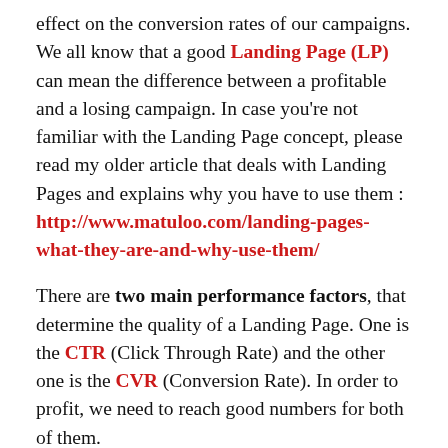effect on the conversion rates of our campaigns. We all know that a good Landing Page (LP) can mean the difference between a profitable and a losing campaign. In case you're not familiar with the Landing Page concept, please read my older article that deals with Landing Pages and explains why you have to use them : http://www.matuloo.com/landing-pages-what-they-are-and-why-use-them/
There are two main performance factors, that determine the quality of a Landing Page. One is the CTR (Click Through Rate) and the other one is the CVR (Conversion Rate). In order to profit, we need to reach good numbers for both of them.
This might sound as an easy task, but it's not 🙂 The fact is, these two usually work AGAINST each other. The